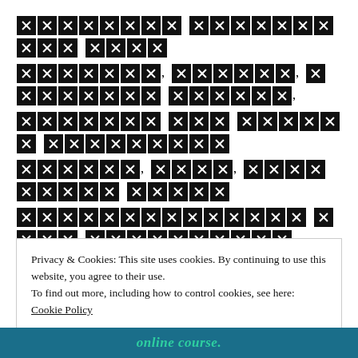[redacted text block with multiple lines of censored/redacted content shown as black X-marked squares]
Privacy & Cookies: This site uses cookies. By continuing to use this website, you agree to their use.
To find out more, including how to control cookies, see here:
Cookie Policy

[Close and accept button]
online course.